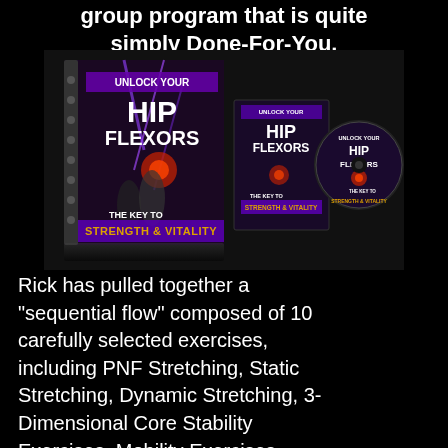group program that is quite simply Done-For-You.
[Figure (photo): Product image showing 'Unlock Your Hip Flexors' book (spiral bound), DVD case, and disc. Text on covers reads 'UNLOCK YOUR HIP FLEXORS - THE KEY TO STRENGTH & VITALITY']
Rick has pulled together a "sequential flow" composed of 10 carefully selected exercises, including PNF Stretching, Static Stretching, Dynamic Stretching, 3-Dimensional Core Stability Exercises, Mobility Exercises,